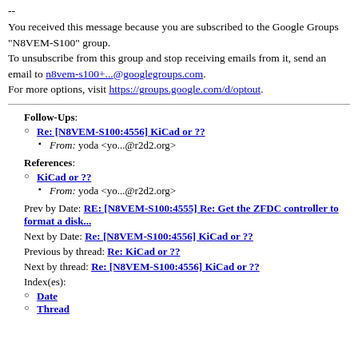--
You received this message because you are subscribed to the Google Groups "N8VEM-S100" group.
To unsubscribe from this group and stop receiving emails from it, send an email to n8vem-s100+...@googlegroups.com.
For more options, visit https://groups.google.com/d/optout.
Follow-Ups:
Re: [N8VEM-S100:4556] KiCad or ??
From: yoda <yo...@r2d2.org>
References:
KiCad or ??
From: yoda <yo...@r2d2.org>
Prev by Date: RE: [N8VEM-S100:4555] Re: Get the ZFDC controller to format a disk...
Next by Date: Re: [N8VEM-S100:4556] KiCad or ??
Previous by thread: Re: KiCad or ??
Next by thread: Re: [N8VEM-S100:4556] KiCad or ??
Index(es):
Date
Thread